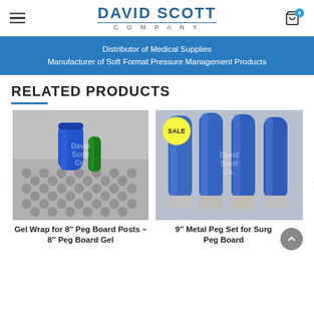David Scott Company — Distributor of Medical Supplies / Manufacturer of Soft Format Pressure Management Products
RELATED PRODUCTS
[Figure (photo): Gel wrap products for 8 inch Peg Board Posts — blue and green gel wraps standing upright on a perforated metal surface. David Scott Co. watermark visible.]
Gel Wrap for 8″ Peg Board Posts – 8″ Peg Board Gel
[Figure (photo): 9 inch Metal Peg Set for Surgical Peg Board — four blue-handled metal pegs with silver steel tips on a gray background. SALE badge visible. David Scott Co. watermark.]
9" Metal Peg Set for Surgical Peg Board